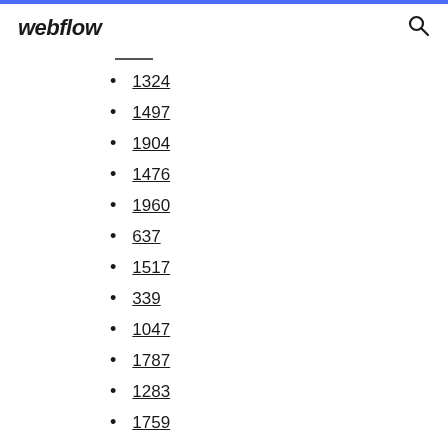webflow
1324
1497
1904
1476
1960
637
1517
339
1047
1787
1283
1759